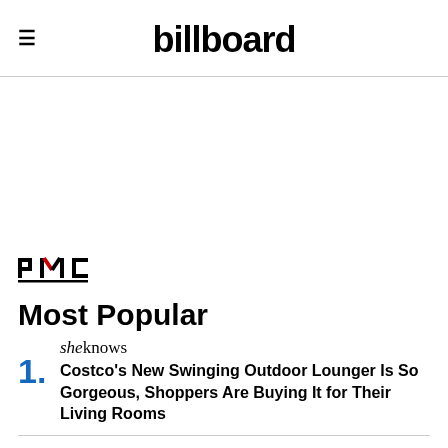billboard
[Figure (logo): PMC logo with stylized letters P, M, C and a red accent on the M]
Most Popular
1. sheknows — Costco's New Swinging Outdoor Lounger Is So Gorgeous, Shoppers Are Buying It for Their Living Rooms
[Figure (logo): The Hollywood Reporter logo in italic serif font]